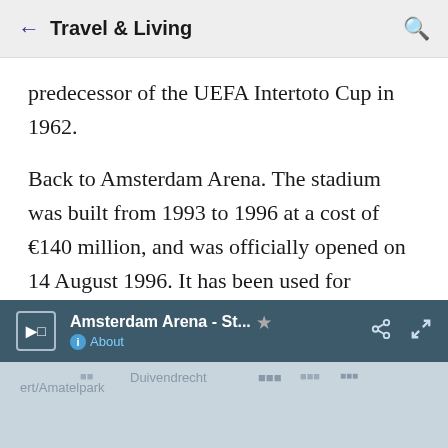← Travel & Living
predecessor of the UEFA Intertoto Cup in 1962.
Back to Amsterdam Arena. The stadium was built from 1993 to 1996 at a cost of €140 million, and was officially opened on 14 August 1996. It has been used for association football, American football, concerts, and other events.
[Figure (screenshot): Amsterdam Arena map widget with toolbar showing title 'Amsterdam Arena - St...' with star, share, and expand icons, and an About link. Below is a partial map view showing Duivendrecht and Amatelpark areas.]